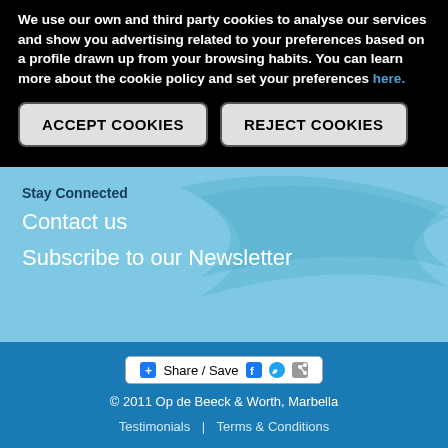We use our own and third party cookies to analyse our services and show you advertising related to your preferences based on a profile drawn up from your browsing habits. You can learn more about the cookie policy and set your preferences here.
ACCEPT COOKIES
REJECT COOKIES
Stay Connected
Contact us
Subscribe to our Newsletter
[Figure (infographic): Share/Save button with Facebook, Twitter, and share icons]
© 2011 Op de Beeck & Worth, Marbella
Testimonials | Terms & Conditions
Privacy Policy | Cookies Policy
Site Map